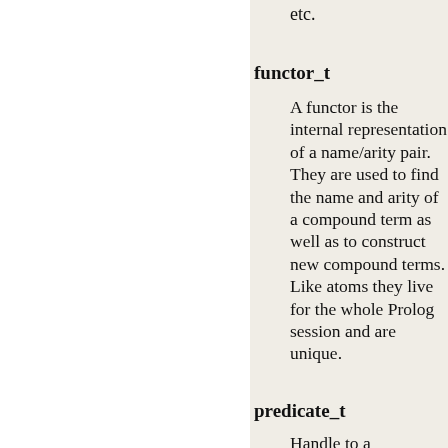etc.
functor_t
A functor is the internal representation of a name/arity pair. They are used to find the name and arity of a compound term as well as to construct new compound terms. Like atoms they live for the whole Prolog session and are unique.
predicate_t
Handle to a Prolog...